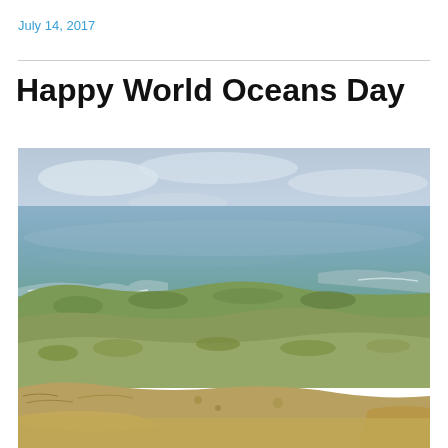July 14, 2017
Happy World Oceans Day
[Figure (photo): Coastal landscape photograph taken from a elevated rocky cliff viewpoint overlooking the Pacific Ocean. In the foreground are large tan/beige sandstone rocks and boulders. The middle ground shows green scrubby coastal vegetation and rolling hills. The background shows the blue-green ocean with white breaking waves along the shoreline, extending to a hazy horizon under an overcast grey-blue sky.]